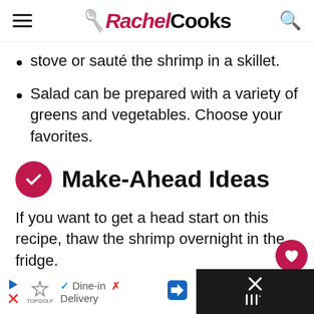Rachel Cooks
stove or sauté the shrimp in a skillet.
Salad can be prepared with a variety of greens and vegetables. Choose your favorites.
Make-Ahead Ideas
If you want to get a head start on this recipe, thaw the shrimp overnight in the fridge.
[Figure (screenshot): Ad banner with TopGolf logo, Dine-in and Delivery options, navigation arrow, and close button with cooking icon]